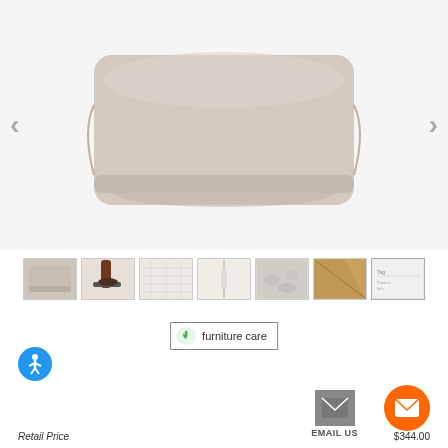[Figure (photo): Main product image of a beige/tan outdoor furniture cover (cushion/pillow shape) shown against white background, with left and right navigation arrows]
[Figure (photo): Row of 7 product thumbnail images: cover overview, furniture leg detail, fabric texture close-up, seam detail, stone/ground surface, golden fabric corner, product tag]
[Figure (other): Furniture care badge/button with green leaf icon and text 'furniture care']
[Figure (other): Accessibility icon (blue circle with person symbol)]
[Figure (other): Email Us button with envelope icon and label 'EMAIL US']
[Figure (other): Orange chat/email circle button with envelope icon]
Retail Price
$344.00